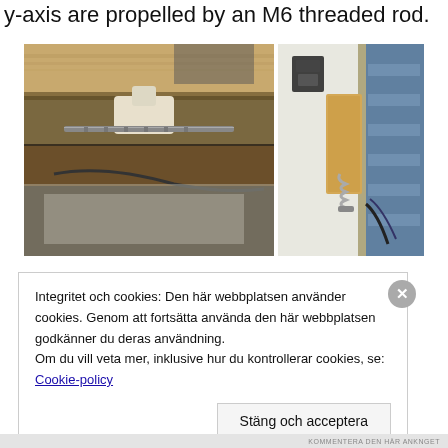y-axis are propelled by an M6 threaded rod.
[Figure (photo): Two photographs side by side showing mechanical assembly details: left photo shows an MDF/particle board with a 3D-printed plastic bracket and threaded rod mechanism underneath; right photo shows a wooden block with a spring-loaded screw mechanism attached to a metal linear rail.]
Integritet och cookies: Den här webbplatsen använder cookies. Genom att fortsätta använda den här webbplatsen godkänner du deras användning.
Om du vill veta mer, inklusive hur du kontrollerar cookies, se:
Cookie-policy
Stäng och acceptera
KOMMENTERA DEN HÄR ANKNGET